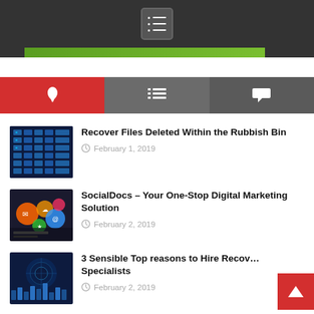Navigation menu icon
[Figure (screenshot): Green banner/bar partially visible at top]
[Figure (infographic): Tab bar with three tabs: flame icon (red), list icon (gray), speech bubble icon (gray)]
Recover Files Deleted Within the Rubbish Bin – February 1, 2019
SocialDocs – Your One-Stop Digital Marketing Solution – February 2, 2019
3 Sensible Top reasons to Hire Recovery Specialists – February 2, 2019